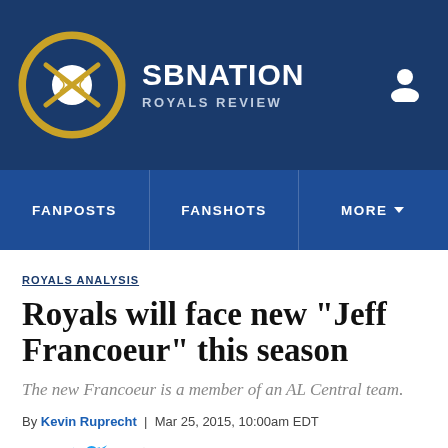SB NATION — ROYALS REVIEW
FANPOSTS | FANSHOTS | MORE
ROYALS ANALYSIS
Royals will face new "Jeff Francoeur" this season
The new Francoeur is a member of an AL Central team.
By Kevin Ruprecht | Mar 25, 2015, 10:00am EDT
SHARE